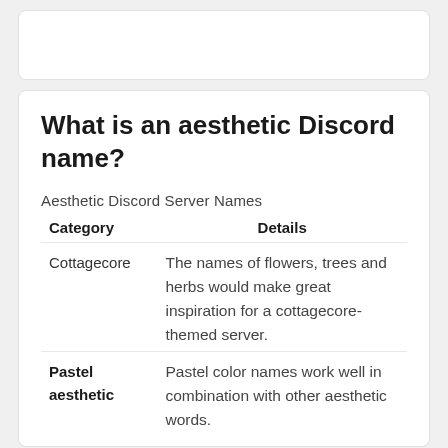What is an aesthetic Discord name?
Aesthetic Discord Server Names
| Category | Details |
| --- | --- |
| Cottagecore | The names of flowers, trees and herbs would make great inspiration for a cottagecore-themed server. |
| Pastel aesthetic | Pastel color names work well in combination with other aesthetic words. |